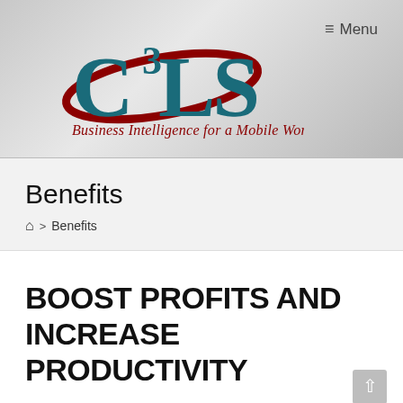[Figure (logo): C3LS logo with teal/dark cyan stylized letters C3LS inside a dark red ellipse orbit, with tagline 'Business Intelligence for a Mobile World' in dark red below]
≡ Menu
Benefits
🏠 > Benefits
BOOST PROFITS AND INCREASE PRODUCTIVITY